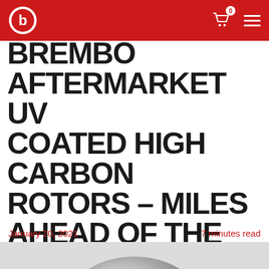BREMBO — navigation header with logo, cart (0), and menu
BREMBO AFTERMARKET UV COATED HIGH CARBON ROTORS – MILES AHEAD OF THE COMPETITION
January 20, 2021
7 minutes read
[Figure (photo): Partial image of a Brembo brake rotor disc, metallic silver, on a light grey background]